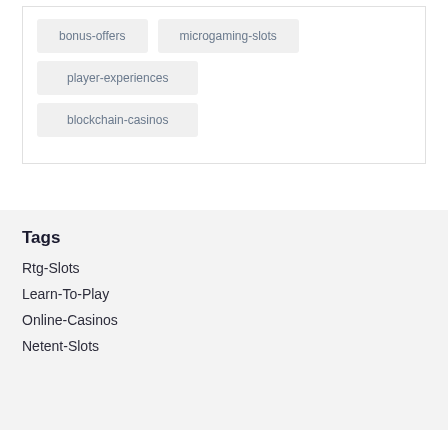bonus-offers
microgaming-slots
player-experiences
blockchain-casinos
Tags
Rtg-Slots
Learn-To-Play
Online-Casinos
Netent-Slots